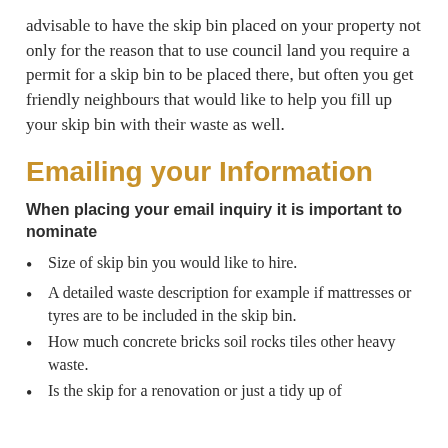advisable to have the skip bin placed on your property not only for the reason that to use council land you require a permit for a skip bin to be placed there, but often you get friendly neighbours that would like to help you fill up your skip bin with their waste as well.
Emailing your Information
When placing your email inquiry it is important to nominate
Size of skip bin you would like to hire.
A detailed waste description for example if mattresses or tyres are to be included in the skip bin.
How much concrete bricks soil rocks tiles other heavy waste.
Is the skip for a renovation or just a tidy up of